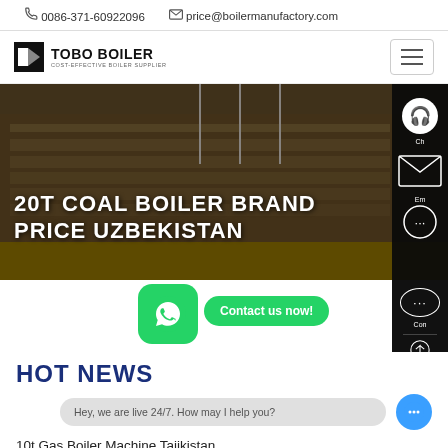0086-371-60922096  price@boilermanufactory.com
[Figure (logo): TOBO BOILER logo with icon and tagline COST-EFFECTIVE BOILER SUPPLIER]
[Figure (photo): Industrial building/factory exterior with flagpoles, hero banner with text: 20T COAL BOILER BRAND PRICE UZBEKISTAN]
20T COAL BOILER BRAND PRICE UZBEKISTAN
[Figure (infographic): WhatsApp green button and Contact us now! bubble overlay]
HOT NEWS
Hey, we are live 24/7. How may I help you?
10t Gas Boiler Machine Tajikistan